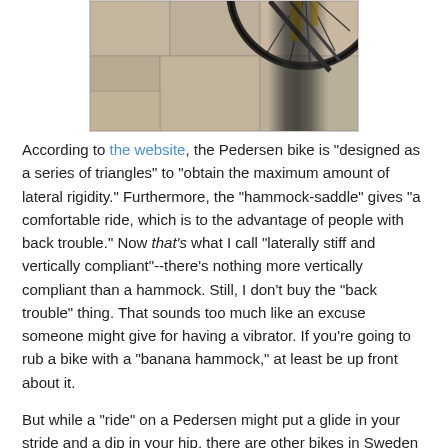[Figure (photo): Partial photograph of a bicycle (appears to be a Pedersen bike) on a paved stone surface, showing the wheel and frame, viewed from above.]
According to the website, the Pedersen bike is "designed as a series of triangles" to "obtain the maximum amount of lateral rigidity." Furthermore, the "hammock-saddle" gives "a comfortable ride, which is to the advantage of people with back trouble." Now that's what I call "laterally stiff and vertically compliant"--there's nothing more vertically compliant than a hammock. Still, I don't buy the "back trouble" thing. That sounds too much like an excuse someone might give for having a vibrator. If you're going to rub a bike with a "banana hammock," at least be up front about it.
But while a "ride" on a Pedersen might put a glide in your stride and a dip in your hip, there are other bikes in Sweden that will lock up your strut instead of loosening it up: